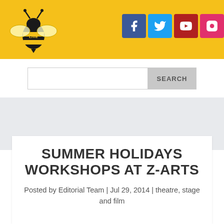[Figure (logo): Live Manchester bee logo on yellow header background]
[Figure (infographic): Social media icons: Facebook (blue), Twitter (cyan), YouTube (dark red), Instagram (pink)]
[Figure (screenshot): Search bar with text input field and SEARCH button]
SUMMER HOLIDAYS WORKSHOPS AT Z-ARTS
Posted by Editorial Team | Jul 29, 2014 | theatre, stage and film